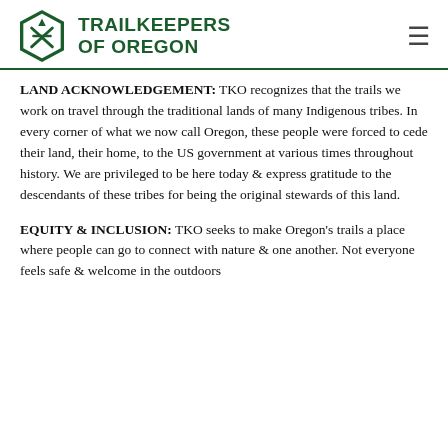TRAILKEEPERS OF OREGON
LAND ACKNOWLEDGEMENT: TKO recognizes that the trails we work on travel through the traditional lands of many Indigenous tribes. In every corner of what we now call Oregon, these people were forced to cede their land, their home, to the US government at various times throughout history. We are privileged to be here today & express gratitude to the descendants of these tribes for being the original stewards of this land.
EQUITY & INCLUSION: TKO seeks to make Oregon's trails a place where people can go to connect with nature & one another. Not everyone feels safe & welcome in the outdoors